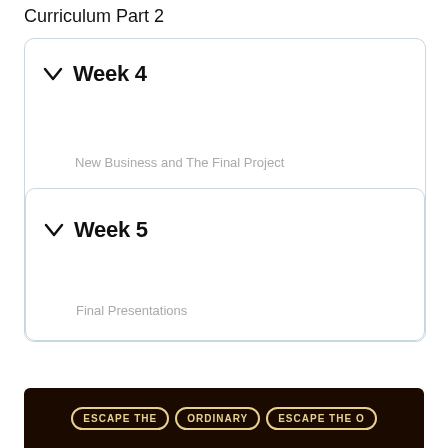Curriculum Part 2
Week 4
New Business and The Final Project
Week 5
Final Presentations
[Figure (photo): Close-up photo of dark embroidered patches with text 'ESCAPE THE ORDINARY' repeated]